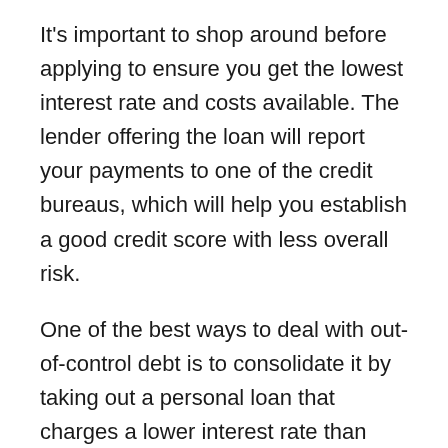It's important to shop around before applying to ensure you get the lowest interest rate and costs available. The lender offering the loan will report your payments to one of the credit bureaus, which will help you establish a good credit score with less overall risk.
One of the best ways to deal with out-of-control debt is to consolidate it by taking out a personal loan that charges a lower interest rate than your credit cards. This will reduce your monthly payments and help you pay off your debt more quickly.
Part of your score is based on the amount of credit you have available but aren't using. The lower your balance (in proportion to the credit limit), the better. By increasing your credit limits, you'll be improving your credit utilization rate, which is the amount of debt you're